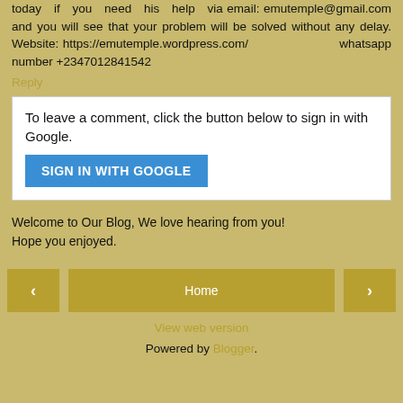today if you need his help via email: emutemple@gmail.com and you will see that your problem will be solved without any delay. Website: https://emutemple.wordpress.com/ whatsapp number +2347012841542
Reply
To leave a comment, click the button below to sign in with Google.
SIGN IN WITH GOOGLE
Welcome to Our Blog, We love hearing from you! Hope you enjoyed.
‹
Home
›
View web version
Powered by Blogger.